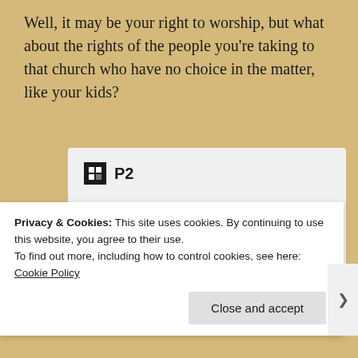Well, it may be your right to worship, but what about the rights of the people you’re taking to that church who have no choice in the matter, like your kids?
[Figure (screenshot): P2 advertisement card showing logo, headline 'Getting your team on the same page is easy. And free.' and avatar circles including a blue circle with a plus icon]
Privacy & Cookies: This site uses cookies. By continuing to use this website, you agree to their use.
To find out more, including how to control cookies, see here: Cookie Policy
Close and accept